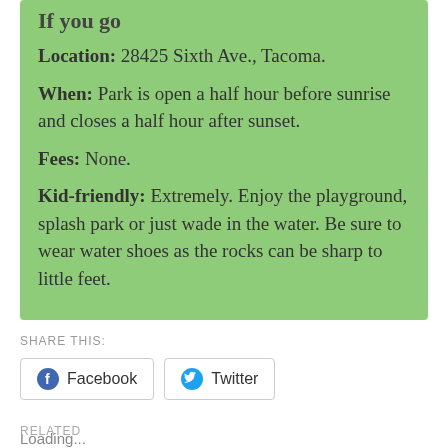If you go
Location: 28425 Sixth Ave., Tacoma.
When: Park is open a half hour before sunrise and closes a half hour after sunset.
Fees: None.
Kid-friendly: Extremely. Enjoy the playground, splash park or just wade in the water. Be sure to wear water shoes as the rocks can be sharp to little feet.
SHARE THIS:
Facebook
Twitter
Loading...
RELATED